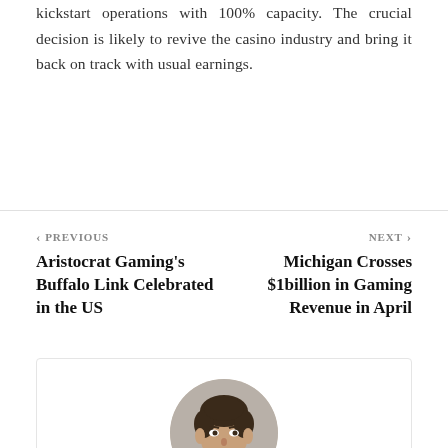kickstart operations with 100% capacity. The crucial decision is likely to revive the casino industry and bring it back on track with usual earnings.
PREVIOUS
Aristocrat Gaming's Buffalo Link Celebrated in the US
NEXT
Michigan Crosses $1billion in Gaming Revenue in April
[Figure (photo): Circular portrait photo of a young man with dark curly hair, wearing a dark shirt, against a neutral background.]